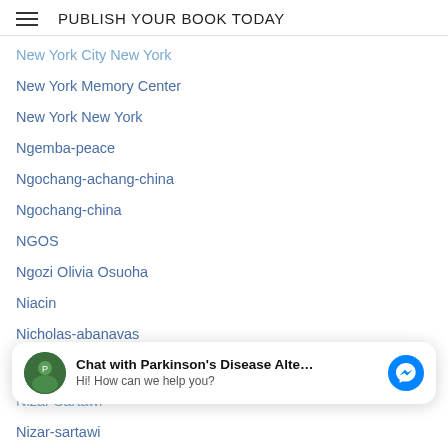PUBLISH YOUR BOOK TODAY
New York City New York
New York Memory Center
New York New York
Ngemba-peace
Ngochang-achang-china
Ngochang-china
NGOS
Ngozi Olivia Osuoha
Niacin
Nicholas-abanavas
Nicholas-klacsanzky
Nicole-hospitalmedina
Niger-Congo Bantu Languages
Night Vision
[Figure (other): Chat widget overlay: avatar image, bold text 'Chat with Parkinson’s Disease Alte…', subtext 'Hi! How can we help you?', and a blue Messenger icon button]
Nizar Sartawi
Nizar-sartawi